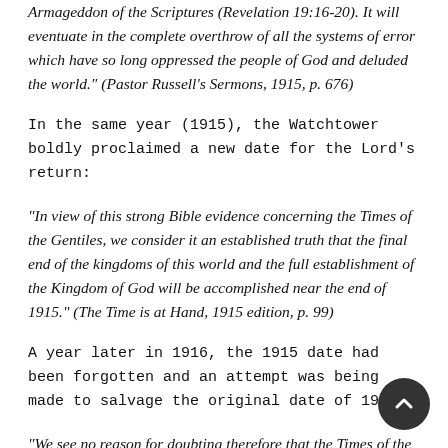Armageddon of the Scriptures (Revelation 19:16-20). It will eventuate in the complete overthrow of all the systems of error which have so long oppressed the people of God and deluded the world." (Pastor Russell's Sermons, 1915, p. 676)
In the same year (1915), the Watchtower boldly proclaimed a new date for the Lord's return:
"In view of this strong Bible evidence concerning the Times of the Gentiles, we consider it an established truth that the final end of the kingdoms of this world and the full establishment of the Kingdom of God will be accomplished near the end of 1915." (The Time is at Hand, 1915 edition, p. 99)
A year later in 1916, the 1915 date had been forgotten and an attempt was being made to salvage the original date of 1914:
"We see no reason for doubting therefore that the Times of the Gentiles ended in October 1914; and that a few more